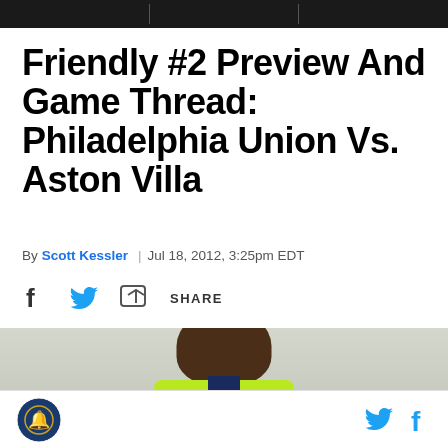Friendly #2 Preview And Game Thread: Philadelphia Union Vs. Aston Villa
By Scott Kessler | Jul 18, 2012, 3:25pm EDT
SHARE
[Figure (photo): Close-up photo of a soccer player wearing a neon yellow/green jersey with navy collar, face cropped at top of frame]